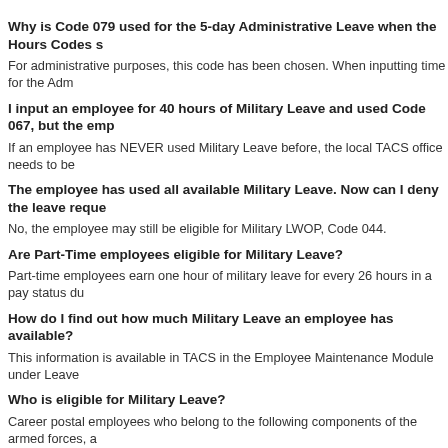Why is Code 079 used for the 5-day Administrative Leave when the Hours Codes s
For administrative purposes, this code has been chosen. When inputting time for the Adm
I input an employee for 40 hours of Military Leave and used Code 067, but the emp
If an employee has NEVER used Military Leave before, the local TACS office needs to be
The employee has used all available Military Leave. Now can I deny the leave reque
No, the employee may still be eligible for Military LWOP, Code 044.
Are Part-Time employees eligible for Military Leave?
Part-time employees earn one hour of military leave for every 26 hours in a pay status du
How do I find out how much Military Leave an employee has available?
This information is available in TACS in the Employee Maintenance Module under Leave
Who is eligible for Military Leave?
Career postal employees who belong to the following components of the armed forces, a
Casuals, Transitional Employees, Contract Workers, and Non-Career Rural Carriers are n
What documentation is required for Military Leave?
Request for or Notification of Absence, Form 3971, is required for absences to attend mil
Military Leave Control, Form 3973, is the official record of the amount of Military Leave us
Military orders or properly endorsed documentation showing the duty was actually perfor